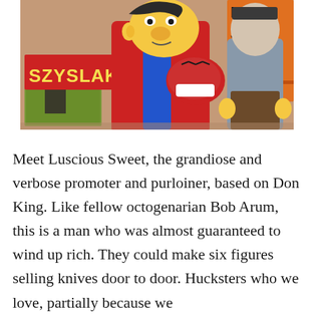[Figure (illustration): A Simpsons cartoon scene showing Homer Simpson in a red boxing robe holding boxing gloves with stitches on top, standing next to a grey-clad figure. Behind them is a poster reading 'SZYSLAK' and another partial poster showing 'IGH BLAN S. LEY LAND RMAN'.]
Meet Luscious Sweet, the grandiose and verbose promoter and purloiner, based on Don King. Like fellow octogenarian Bob Arum, this is a man who was almost guaranteed to wind up rich. They could make six figures selling knives door to door. Hucksters who we love, partially because we